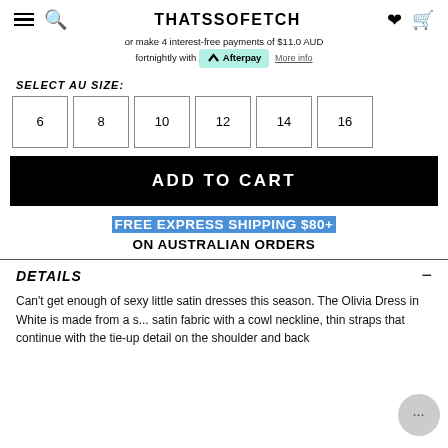THATSSOFETCH
or make 4 interest-free payments of $11.0 AUD fortnightly with Afterpay More info
SELECT AU SIZE:
6  8  10  12  14  16
ADD TO CART
FREE EXPRESS SHIPPING $80+ ON AUSTRALIAN ORDERS
DETAILS
Can't get enough of sexy little satin dresses this season. The Olivia Dress in White is made from a s... satin fabric with a cowl neckline, thin straps that continue with the tie-up detail on the shoulder and back